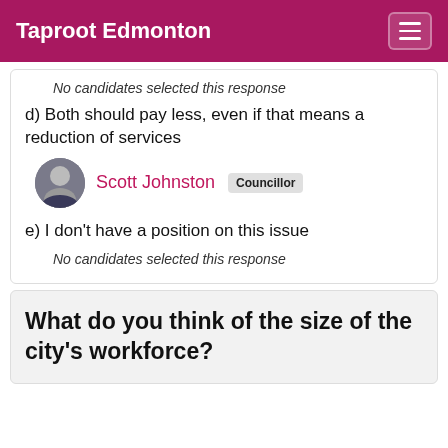Taproot Edmonton
No candidates selected this response
d) Both should pay less, even if that means a reduction of services
Scott Johnston  Councillor
e) I don't have a position on this issue
No candidates selected this response
What do you think of the size of the city's workforce?